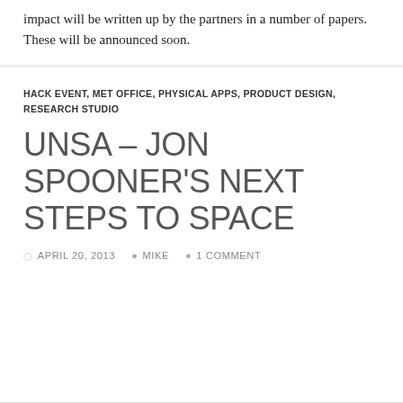impact will be written up by the partners in a number of papers.  These will be announced soon.
HACK EVENT, MET OFFICE, PHYSICAL APPS, PRODUCT DESIGN, RESEARCH STUDIO
UNSA – JON SPOONER'S NEXT STEPS TO SPACE
APRIL 20, 2013  MIKE  1 COMMENT